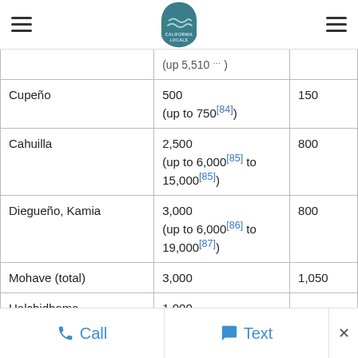California Locals — navigation header with logo
| Tribe | Pre-contact population | Current population |
| --- | --- | --- |
|  | (up to 5,510 ...) |  |
| Cupeño | 500 (up to 750[84]) | 150 |
| Cahuilla | 2,500 (up to 6,000[85] to 15,000[85]) | 800 |
| Diegueño, Kamia | 3,000 (up to 6,000[86] to 19,000[87]) | 800 |
| Mohave (total) | 3,000 | 1,050 |
| Halchidhoma | 1,000 | ......... |
Call | Text | ×